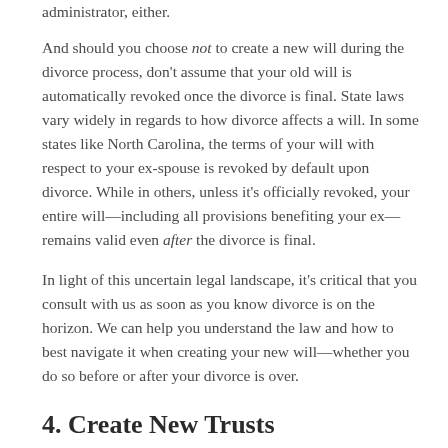administrator, either.
And should you choose not to create a new will during the divorce process, don't assume that your old will is automatically revoked once the divorce is final. State laws vary widely in regards to how divorce affects a will. In some states like North Carolina, the terms of your will with respect to your ex-spouse is revoked by default upon divorce. While in others, unless it's officially revoked, your entire will—including all provisions benefiting your ex—remains valid even after the divorce is final.
In light of this uncertain legal landscape, it's critical that you consult with us as soon as you know divorce is on the horizon. We can help you understand the law and how to best navigate it when creating your new will—whether you do so before or after your divorce is over.
4. Create New Trusts